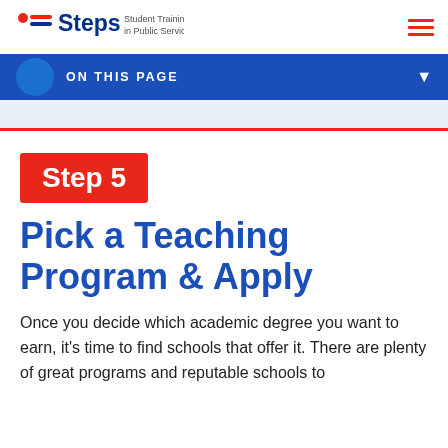Steps — Student Training & Education in Public Service
ON THIS PAGE
Step 5
Pick a Teaching Program & Apply
Once you decide which academic degree you want to earn, it's time to find schools that offer it. There are plenty of great programs and reputable schools to